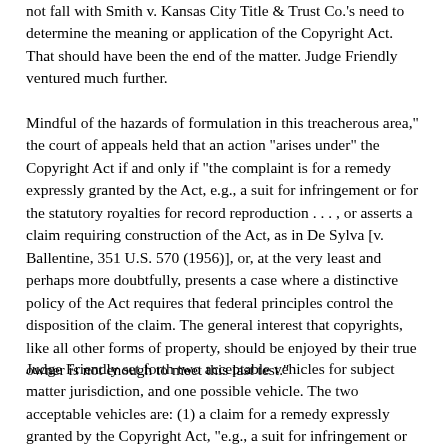not fall with Smith v. Kansas City Title & Trust Co.'s need to determine the meaning or application of the Copyright Act. That should have been the end of the matter. Judge Friendly ventured much further.
Mindful of the hazards of formulation in this treacherous area," the court of appeals held that an action "arises under" the Copyright Act if and only if "the complaint is for a remedy expressly granted by the Act, e.g., a suit for infringement or for the statutory royalties for record reproduction . . . , or asserts a claim requiring construction of the Act, as in De Sylva [v. Ballentine, 351 U.S. 570 (1956)], or, at the very least and perhaps more doubtfully, presents a case where a distinctive policy of the Act requires that federal principles control the disposition of the claim. The general interest that copyrights, like all other forms of property, should be enjoyed by their true owner is not enough to meet this last test."
Judge Friendly set forth two acceptable vehicles for subject matter jurisdiction, and one possible vehicle. The two acceptable vehicles are: (1) a claim for a remedy expressly granted by the Copyright Act, "e.g., a suit for infringement or